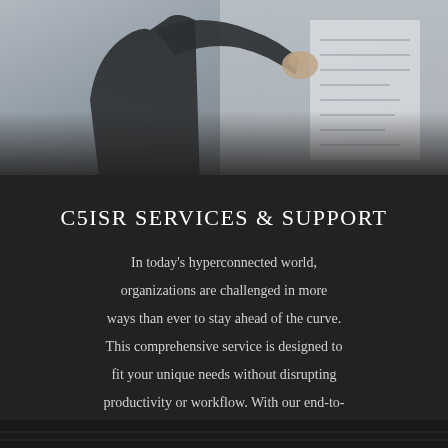[Figure (photo): A person in a dark jacket pointing at or examining documents/papers on a wall or board, viewed from behind. The image is in a muted, desaturated style.]
C5ISR SERVICES & SUPPORT
In today's hyperconnected world, organizations are challenged in more ways than ever to stay ahead of the curve. This comprehensive service is designed to fit your unique needs without disrupting productivity or workflow. With our end-to-end solutions, Altamaha Tech is sure to help your organization succeed.
[Figure (photo): Partial bottom photo strip showing a dark scene, partially visible at the bottom of the page.]